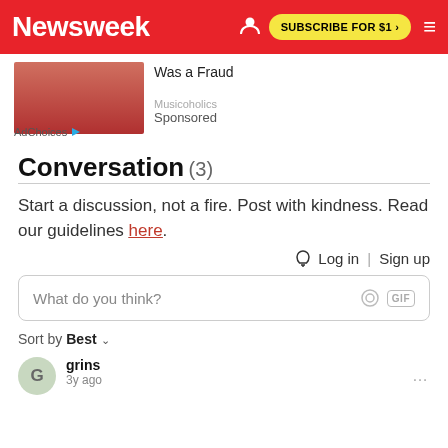Newsweek | SUBSCRIBE FOR $1 >
[Figure (photo): Partial view of a person's face/photo in an advertisement area with text 'Was a Fraud']
AdChoices  Sponsored  Musicoholics
Conversation (3)
Start a discussion, not a fire. Post with kindness. Read our guidelines here.
Log in | Sign up
What do you think?
Sort by Best
grins
3y ago